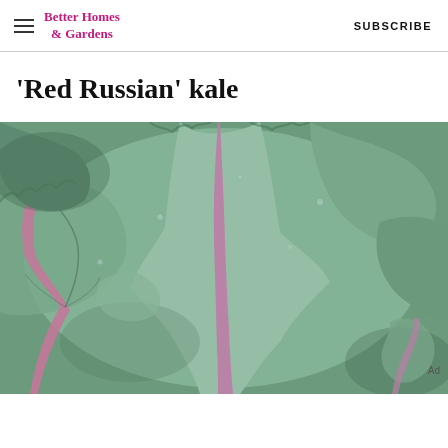Better Homes & Gardens | SUBSCRIBE
'Red Russian' kale
[Figure (photo): Close-up photograph of Red Russian kale plants showing large, frilly blue-green leaves with distinctive pink/red veins and stems]
Ad